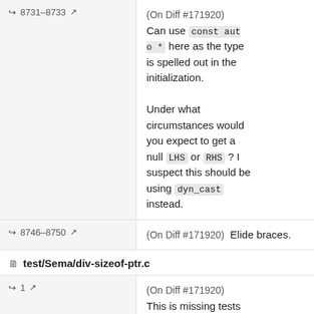8731–8733 ↗  (On Diff #171920)  Can use const auto * here as the type is spelled out in the initialization.

Under what circumstances would you expect to get a null LHS or RHS ? I suspect this should be using dyn_cast instead.
8746–8750 ↗  (On Diff #171920)  Elide braces.
test/Sema/div-sizeof-ptr.c
1 ↗  (On Diff #171920)  This is missing tests for the positive behavior -- can you add some tests